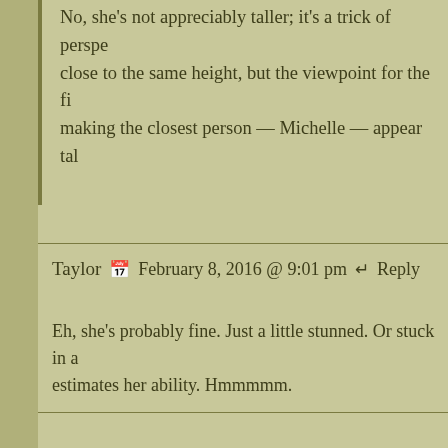No, she's not appreciably taller; it's a trick of perspective. They're close to the same height, but the viewpoint for the first panel is making the closest person — Michelle — appear taller.
Taylor  📅 February 8, 2016 @ 9:01 pm  ↩ Reply
Eh, she's probably fine. Just a little stunned. Or stuck in a... estimates her ability. Hmmmmm.
Bom Tombadil  📅 February 8, 2016 @ 9:08 pm  ↩ Re...
I am 110% on board with floofy hair Michelle.
Weirdo  📅 February 8, 2016 @ 9:13 pm  ↩ Reply